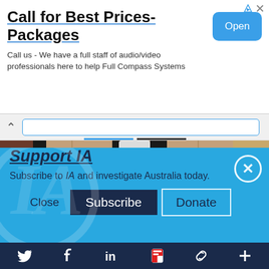[Figure (screenshot): Advertisement banner: Call for Best Prices-Packages with Open button]
Call for Best Prices-Packages
Call us - We have a full staff of audio/video professionals here to help Full Compass Systems
[Figure (photo): Security camera mounted between stone/brick walls, close-up view]
Support IA
Subscribe to IA and investigate Australia today.
Close  Subscribe  Donate
[Figure (screenshot): Bottom navigation bar with Twitter, Facebook, LinkedIn, Flipboard, share, and plus icons]